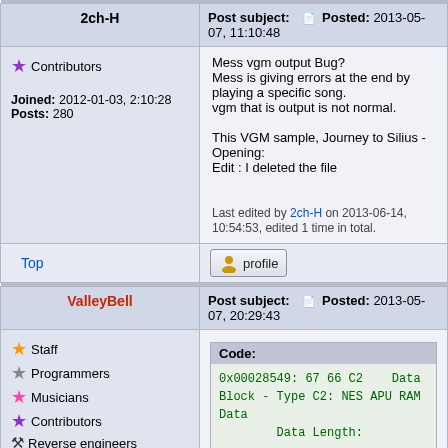| 2ch-H | Post subject: Posted: 2013-05-07, 11:10:48 |
| --- | --- |
| Contributors
Joined: 2012-01-03, 2:10:28
Posts: 280 | Mess vgm output Bug?
Mess is giving errors at the end by playing a specific song.
vgm that is output is not normal.

This VGM sample, Journey to Silius - Opening:
Edit : I deleted the file

Last edited by 2ch-H on 2013-06-14, 10:54:53, edited 1 time in total. |
| Top | profile |
| ValleyBell | Post subject: Posted: 2013-05-07, 20:29:43 |
| Staff
Programmers
Musicians
Contributors
Reverse engineers | Code:
0x00028549: 67 66 C2    Data Block - Type C2: NES APU RAM Data
        Data Length: |